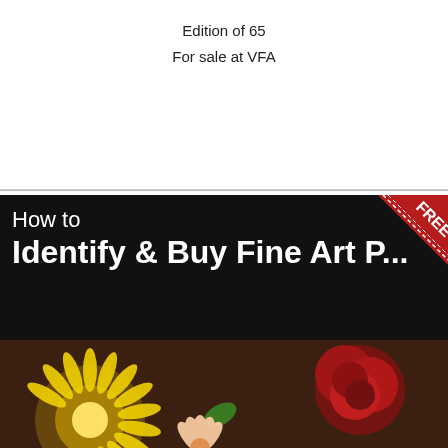Edition of 65
For sale at VFA
[Figure (illustration): Book cover or advertisement image: black header banner reading 'How to Identify & Buy Fine Art P...' with a FREE badge in the top-right corner on a red ribbon, and below it a painted floral illustration featuring a yellow fluffy flower, a red rose, green leaves, and peach/cream petals on a dark brown background.]